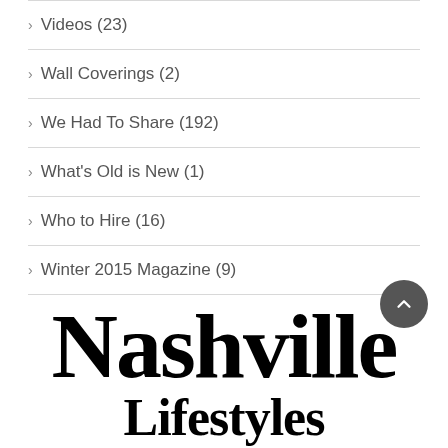> Videos (23)
> Wall Coverings (2)
> We Had To Share (192)
> What's Old is New (1)
> Who to Hire (16)
> Winter 2015 Magazine (9)
[Figure (logo): Nashville Lifestyles magazine logo in bold serif font, partially cropped at bottom of page]